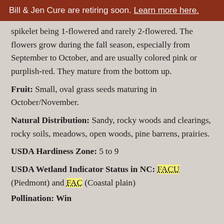Bill & Jen Cure are retiring soon. Learn more here.
spikelet being 1-flowered and rarely 2-flowered. The flowers grow during the fall season, especially from September to October, and are usually colored pink or purplish-red. They mature from the bottom up.
Fruit: Small, oval grass seeds maturing in October/November.
Natural Distribution: Sandy, rocky woods and clearings, rocky soils, meadows, open woods, pine barrens, prairies.
USDA Hardiness Zone: 5 to 9
USDA Wetland Indicator Status in NC: FACU (Piedmont) and FAC (Coastal plain)
Pollination: Win...